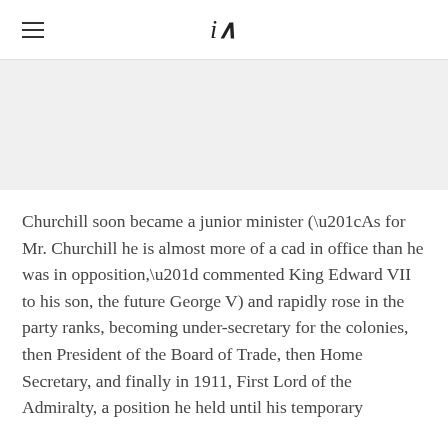iA
[Figure (photo): Light grey placeholder image area]
Churchill soon became a junior minister (“As for Mr. Churchill he is almost more of a cad in office than he was in opposition,” commented King Edward VII to his son, the future George V) and rapidly rose in the party ranks, becoming under-secretary for the colonies, then President of the Board of Trade, then Home Secretary, and finally in 1911, First Lord of the Admiralty, a position he held until his temporary